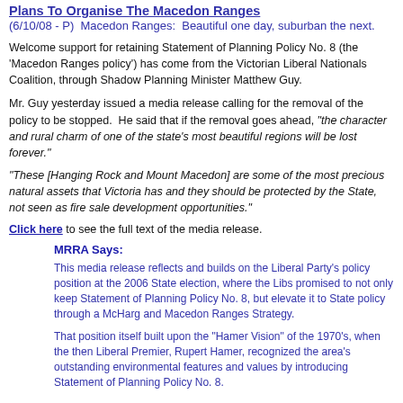Plans To Organise The Macedon Ranges
(6/10/08 - P)  Macedon Ranges:  Beautiful one day, suburban the next.
Welcome support for retaining Statement of Planning Policy No. 8 (the 'Macedon Ranges policy') has come from the Victorian Liberal Nationals Coalition, through Shadow Planning Minister Matthew Guy.
Mr. Guy yesterday issued a media release calling for the removal of the policy to be stopped.  He said that if the removal goes ahead, "the character and rural charm of one of the state's most beautiful regions will be lost forever."
"These [Hanging Rock and Mount Macedon] are some of the most precious natural assets that Victoria has and they should be protected by the State, not seen as fire sale development opportunities."
Click here to see the full text of the media release.
MRRA Says:
This media release reflects and builds on the Liberal Party's policy position at the 2006 State election, where the Libs promised to not only keep Statement of Planning Policy No. 8, but elevate it to State policy through a McHarg and Macedon Ranges Strategy.
That position itself built upon the "Hamer Vision" of the 1970's, when the then Liberal Premier, Rupert Hamer, recognized the area's outstanding environmental features and values by introducing Statement of Planning Policy No. 8.